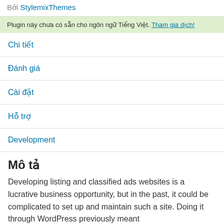Bởi StylemixThemes
Plugin này chưa có sẵn cho ngôn ngữ Tiếng Việt. Tham gia dịch!
Chi tiết
Đánh giá
Cài đặt
Hỗ trợ
Development
Mô tả
Developing listing and classified ads websites is a lucrative business opportunity, but in the past, it could be complicated to set up and maintain such a site. Doing it through WordPress previously meant